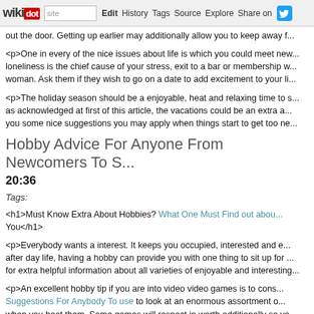wikidot | site | Edit | History | Tags | Source | Explore | Share on Twitter
<p>out the door. Getting up earlier may additionally allow you to keep away f...
<p>One in every of the nice issues about life is which you could meet new... loneliness is the chief cause of your stress, exit to a bar or membership w... woman. Ask them if they wish to go on a date to add excitement to your li...
<p>The holiday season should be a enjoyable, heat and relaxing time to s... as acknowledged at first of this article, the vacations could be an extra a... you some nice suggestions you may apply when things start to get too ne...
Hobby Advice For Anyone From Newcomers To S... 20:36
Tags:
<h1>Must Know Extra About Hobbies? What One Must Find out abou... You</h1>
<p>Everybody wants a interest. It keeps you occupied, interested and e... after day life, having a hobby can provide you with one thing to sit up for ... for extra helpful information about all varieties of enjoyable and interesting...
<p>An excellent hobby tip if you are into video video games is to cons... Suggestions For Anybody To use to look at an enormous assortment o... when you beat them. Some games will respect in worth additionally so yo...
<p>Developing Do You Usually End up Bored? Try One Of those Hobby... from your worrying life. Find a hobby that is a variety of fun for you where... get pleasure from losing time, discover a pastime that makes you feel as...